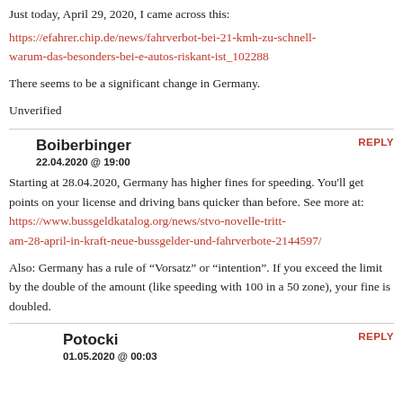Just today, April 29, 2020, I came across this:
https://efahrer.chip.de/news/fahrverbot-bei-21-kmh-zu-schnell-warum-das-besonders-bei-e-autos-riskant-ist_102288
There seems to be a significant change in Germany.
Unverified
Boiberbinger
22.04.2020 @ 19:00
REPLY
Starting at 28.04.2020, Germany has higher fines for speeding. You'll get points on your license and driving bans quicker than before. See more at: https://www.bussgeldkatalog.org/news/stvo-novelle-tritt-am-28-april-in-kraft-neue-bussgelder-und-fahrverbote-2144597/
Also: Germany has a rule of “Vorsatz” or “intention”. If you exceed the limit by the double of the amount (like speeding with 100 in a 50 zone), your fine is doubled.
Potocki
01.05.2020 @ 00:03
REPLY